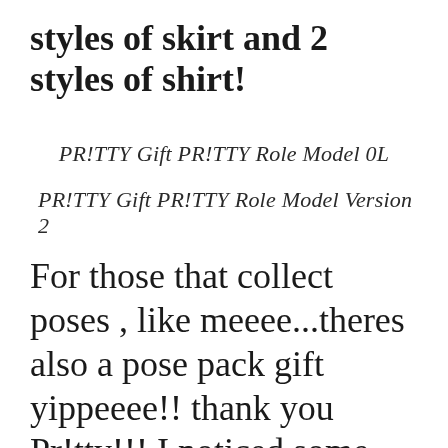styles of skirt and 2 styles of shirt!
PR!TTY Gift PR!TTY Role Model 0L
PR!TTY Gift PR!TTY Role Model Version 2
For those that collect poses , like meeee...theres also a pose pack gift yippeeee!! thank you Pr!tty!!! I noticed some gorjusness there at very reasonable prices and a sale on hair in the adjoining room..go check it all out girlies!!